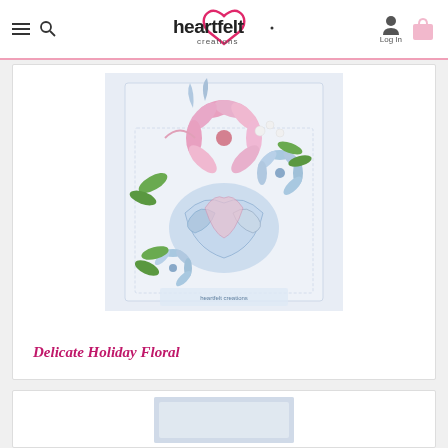heartfelt creations — Log In
[Figure (photo): A decorative handmade greeting card featuring pink and blue poinsettia flowers, green holly leaves, and ornate blue scrollwork/butterfly designs on a light background.]
Delicate Holiday Floral
[Figure (photo): Partially visible bottom of another product card]